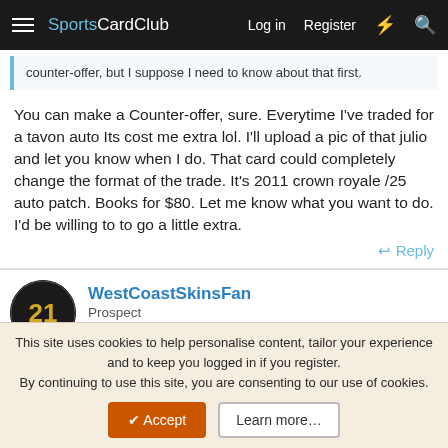SportsCardClub — Log in  Register
counter-offer, but I suppose I need to know about that first.
You can make a Counter-offer, sure. Everytime I've traded for a tavon auto Its cost me extra lol. I'll upload a pic of that julio and let you know when I do. That card could completely change the format of the trade. It's 2011 crown royale /25 auto patch. Books for $80. Let me know what you want to do.
I'd be willing to to go a little extra.
Reply
WestCoastSkinsFan
Prospect
Transactions: 5
This site uses cookies to help personalise content, tailor your experience and to keep you logged in if you register.
By continuing to use this site, you are consenting to our use of cookies.